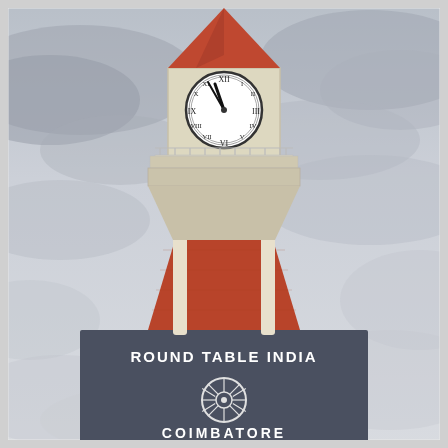[Figure (photo): Photograph of a tall clock tower with red brick body, cream-colored columns and trim, a clock face at the top showing Roman numerals, red pyramidal spire at the apex, and a dark grey sign reading 'ROUND TABLE INDIA' with a wheel/chakra logo and 'COIMBATORE' below. The background is an overcast cloudy sky.]